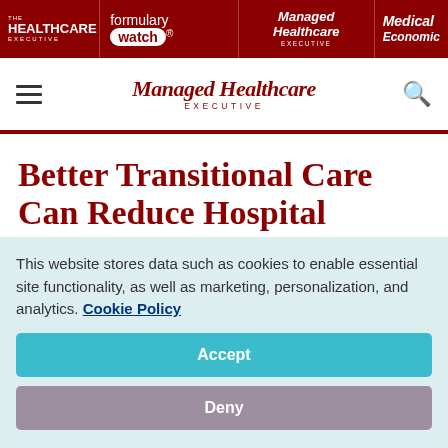HEALTHCARE EXECUTIVE | formulary watch | Managed Healthcare EXECUTIVE | Medical Economics
Managed Healthcare EXECUTIVE
Better Transitional Care Can Reduce Hospital Readmissions: Study
This website stores data such as cookies to enable essential site functionality, as well as marketing, personalization, and analytics. Cookie Policy
Accept
Deny